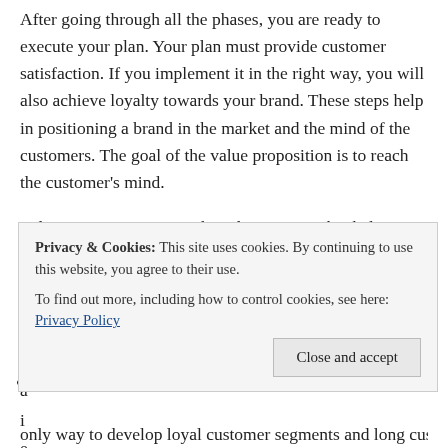After going through all the phases, you are ready to execute your plan. Your plan must provide customer satisfaction. If you implement it in the right way, you will also achieve loyalty towards your brand. These steps help in positioning a brand in the market and the mind of the customers. The goal of the value proposition is to reach the customer's mind.
Value proposition creates brand awareness that helps a customer in recognizing the brand in different circumstances. If a buyer can identify and differentiate your product from competitors, it means your value proposition is excellent.
Privacy & Cookies: This site uses cookies. By continuing to use this website, you agree to their use. To find out more, including how to control cookies, see here: Privacy Policy
only way to develop loyal customer segments and long customer